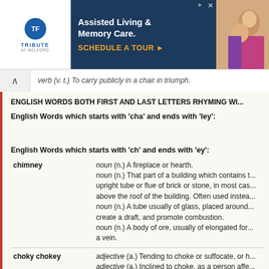[Figure (other): Advertisement banner for Tribute at Melford Assisted Living & Memory Care with logo, dark blue background, orange CTA text 'SCHEDULE A TOUR', and photo of elderly person]
verb (v. t.) To carry publicly in a chair in triumph.
ENGLISH WORDS BOTH FIRST AND LAST LETTERS RHYMING WI...
English Words which starts with 'cha' and ends with 'ley':
English Words which starts with 'ch' and ends with 'ey':
| Word | Definition |
| --- | --- |
| chimney | noun (n.) A fireplace or hearth.
noun (n.) That part of a building which contains the upright tube or flue of brick or stone, in most cases above the roof of the building. Often used instead...
noun (n.) A tube usually of glass, placed around to create a draft, and promote combustion.
noun (n.) A body of ore, usually of elongated form, a vein. |
| choky chokey | adjective (a.) Tending to choke or suffocate, or h...
adjective (a.) Inclined to choke, as a person affe... |